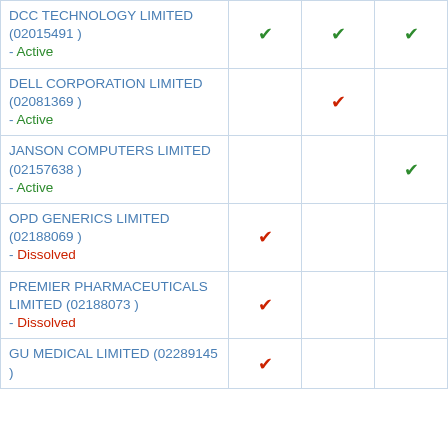| Company | Col1 | Col2 | Col3 |
| --- | --- | --- | --- |
| DCC TECHNOLOGY LIMITED (02015491 ) - Active | ✓ | ✓ | ✓ |
| DELL CORPORATION LIMITED (02081369 ) - Active |  | ✓ |  |
| JANSON COMPUTERS LIMITED (02157638 ) - Active |  |  | ✓ |
| OPD GENERICS LIMITED (02188069 ) - Dissolved | ✓ |  |  |
| PREMIER PHARMACEUTICALS LIMITED (02188073 ) - Dissolved | ✓ |  |  |
| GU MEDICAL LIMITED (02289145 ) | ✓ |  |  |